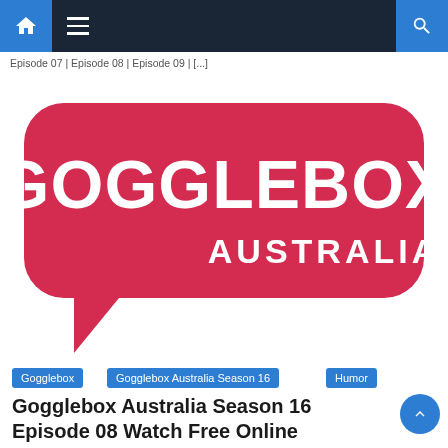Navigation bar with home icon, hamburger menu, and search icon
Episode 07 | Episode 08 | Episode 09 | [...]
[Figure (logo): Gogglebox Australia logo — white text on red rounded speech bubble shape with tail at bottom-left]
Gogglebox
Gogglebox Australia Season 16
Humor
Gogglebox Australia Season 16 Episode 08 Watch Free Online